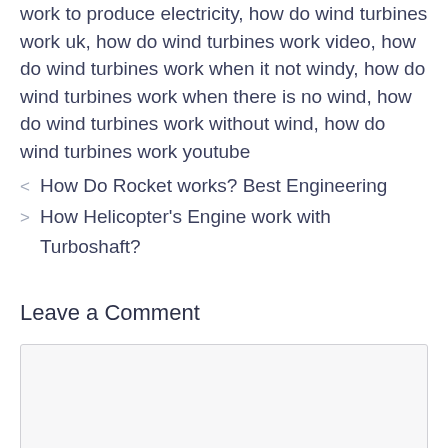work to produce electricity, how do wind turbines work uk, how do wind turbines work video, how do wind turbines work when it not windy, how do wind turbines work when there is no wind, how do wind turbines work without wind, how do wind turbines work youtube
< How Do Rocket works? Best Engineering
> How Helicopter's Engine work with Turboshaft?
Leave a Comment